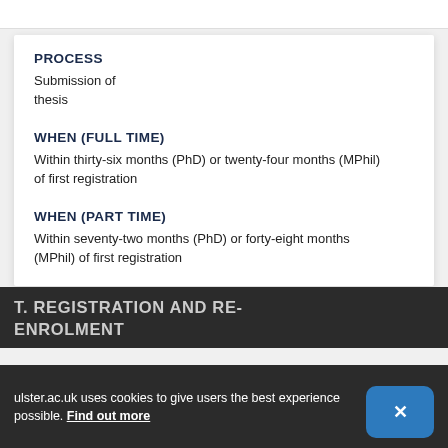PROCESS
Submission of thesis
WHEN (FULL TIME)
Within thirty-six months (PhD) or twenty-four months (MPhil) of first registration
WHEN (PART TIME)
Within seventy-two months (PhD) or forty-eight months (MPhil) of first registration
ulster.ac.uk uses cookies to give users the best experience possible. Find out more
T. REGISTRATION AND RE-ENROLMENT